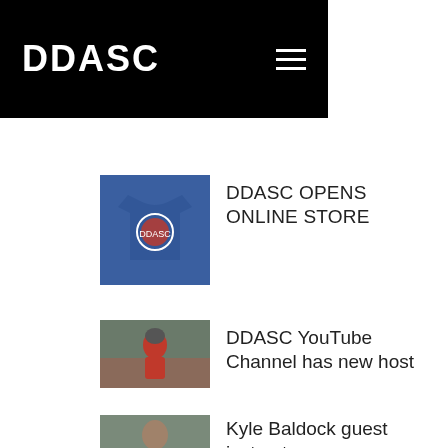DDASC
DDASC OPENS ONLINE STORE
[Figure (photo): Person wearing a navy blue DDASC t-shirt with circular logo on chest]
DDASC YouTube Channel has new host
[Figure (photo): Person in a red jacket and helmet, possibly outdoors near water]
Kyle Baldock guest instructor
[Figure (photo): Partial photo of a person, cropped at page bottom]